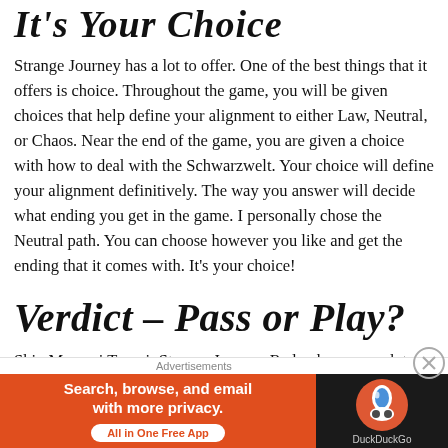It's Your Choice
Strange Journey has a lot to offer.  One of the best things that it offers is choice.  Throughout the game, you will be given choices that help define your alignment to either Law, Neutral, or Chaos.  Near the end of the game, you are given a choice with how to deal with the Schwarzwelt.  Your choice will define your alignment definitively.  The way you answer will decide what ending you get in the game. I personally chose the Neutral path.  You can choose however you like and get the ending that it comes with.  It's your choice!
Verdict – Pass or Play?
Shin Megami Tensei: Strange Journey Redux has so much to offer in the way of its captivating story.  The characters grab
[Figure (other): DuckDuckGo advertisement banner with orange left panel ('Search, browse, and email with more privacy. All in One Free App') and dark right panel with DuckDuckGo logo]